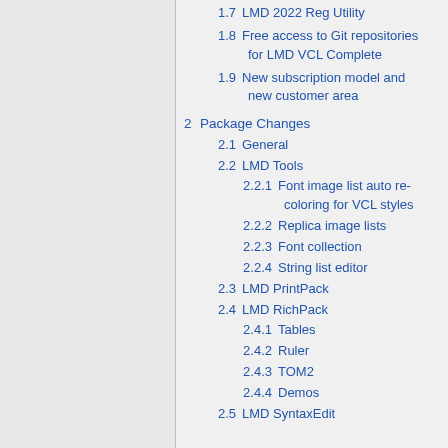1.7  LMD 2022 Reg Utility
1.8  Free access to Git repositories for LMD VCL Complete
1.9  New subscription model and new customer area
2  Package Changes
2.1  General
2.2  LMD Tools
2.2.1  Font image list auto re-coloring for VCL styles
2.2.2  Replica image lists
2.2.3  Font collection
2.2.4  String list editor
2.3  LMD PrintPack
2.4  LMD RichPack
2.4.1  Tables
2.4.2  Ruler
2.4.3  TOM2
2.4.4  Demos
2.5  LMD SyntaxEdit